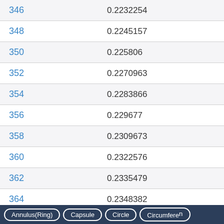| Index | Value |
| --- | --- |
| 346 | 0.2232254 |
| 348 | 0.2245157 |
| 350 | 0.225806 |
| 352 | 0.2270963 |
| 354 | 0.2283866 |
| 356 | 0.229677 |
| 358 | 0.2309673 |
| 360 | 0.2322576 |
| 362 | 0.2335479 |
| 364 | 0.2348382 |
Annulus(Ring)   Capsule   Circle   Circumference